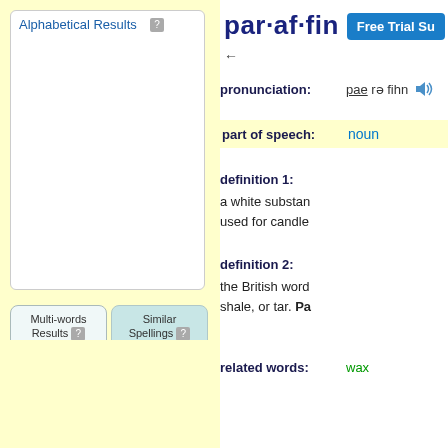Alphabetical Results
par·af·fin
Free Trial Su
pronunciation: pae rə fihn
part of speech: noun
definition 1: a white substan... used for candle...
definition 2: the British word... shale, or tar. Pa...
related words: wax
Multi-words Results
Similar Spellings